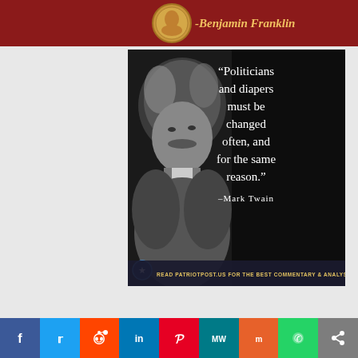[Figure (illustration): Red banner with Benjamin Franklin coin image and italic attribution text '-Benjamin Franklin' in gold on dark red background]
[Figure (photo): Black and white photograph of Mark Twain with overlaid quote: "Politicians and diapers must be changed often, and for the same reason." -Mark Twain. Footer reads: READ PATRIOTPOST.US FOR THE BEST COMMENTARY & ANALYSIS]
[Figure (infographic): Social media sharing bar with icons for Facebook (blue), Twitter (light blue), Reddit (orange), LinkedIn (blue), Pinterest (red), MeWe (teal), Mix (orange), WhatsApp (green), Share (gray)]